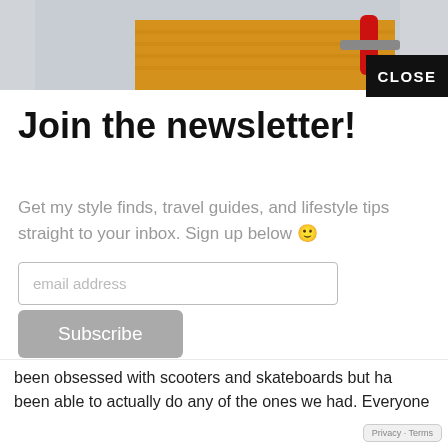[Figure (photo): Top portion of a photo showing a person in a yellow/mustard knit sweater holding what appears to be a scooter handlebar with red grip, on a light gray background]
CLOSE
Join the newsletter!
Get my style finds, travel guides, and lifestyle tips straight to your inbox. Sign up below 🙂
email address
Subscribe
been obsessed with scooters and skateboards but ha been able to actually do any of the ones we had. Everyone